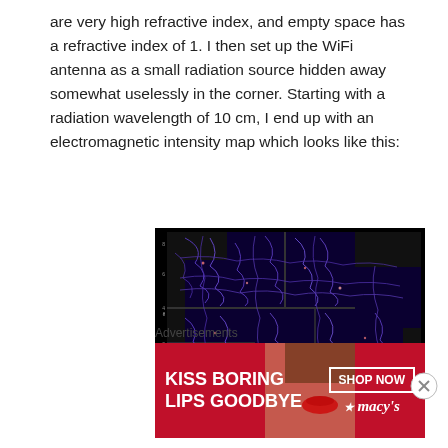are very high refractive index, and empty space has a refractive index of 1. I then set up the WiFi antenna as a small radiation source hidden away somewhat uselessly in the corner. Starting with a radiation wavelength of 10 cm, I end up with an electromagnetic intensity map which looks like this:
[Figure (continuous-plot): Electromagnetic intensity map of a floor plan showing WiFi signal propagation. Dark navy/purple background with bright red and pink lines showing wave interference patterns through rooms. A red dot marks the WiFi antenna position in the lower right area.]
Advertisements
[Figure (photo): Advertisement banner for Macy's cosmetics. Red background with white bold text 'KISS BORING LIPS GOODBYE', a photo of a woman, and 'SHOP NOW' button with Macy's star logo.]